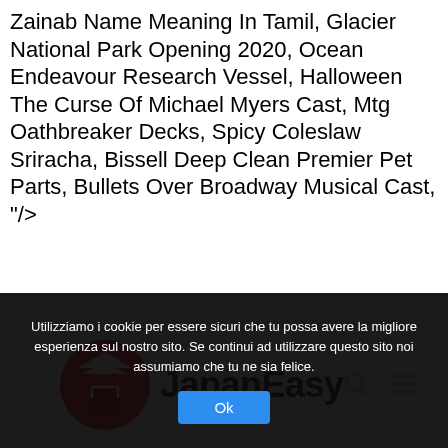Zainab Name Meaning In Tamil, Glacier National Park Opening 2020, Ocean Endeavour Research Vessel, Halloween The Curse Of Michael Myers Cast, Mtg Oathbreaker Decks, Spicy Coleslaw Sriracha, Bissell Deep Clean Premier Pet Parts, Bullets Over Broadway Musical Cast, "/>
[Figure (logo): JapanEasy logo with red circle containing a Japanese-style gate/pagoda icon and bold text 'JapanEasy']
Utilizziamo i cookie per essere sicuri che tu possa avere la migliore esperienza sul nostro sito. Se continui ad utilizzare questo sito noi assumiamo che tu ne sia felice.